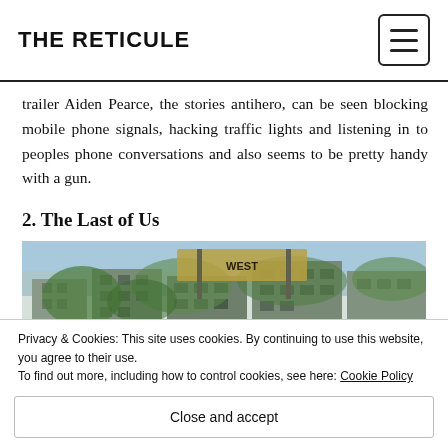THE RETICULE
trailer Aiden Pearce, the stories antihero, can be seen blocking mobile phone signals, hacking traffic lights and listening in to peoples phone conversations and also seems to be pretty handy with a gun.
2. The Last of Us
[Figure (photo): Screenshot from The Last of Us game showing an overgrown urban environment with buildings and street signs covered in vegetation]
Privacy & Cookies: This site uses cookies. By continuing to use this website, you agree to their use. To find out more, including how to control cookies, see here: Cookie Policy
Close and accept